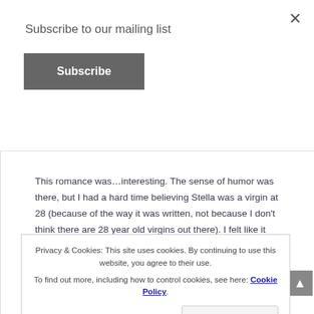Subscribe to our mailing list
Subscribe
This romance was…interesting. The sense of humor was there, but I had a hard time believing Stella was a virgin at 28 (because of the way it was written, not because I don't think there are 28 year old virgins out there). I felt like it came out of nowhere. Then 40 year old Beau is a born again virgin, tired of his man-slut ways, and waiting until he falls in love.
Privacy & Cookies: This site uses cookies. By continuing to use this website, you agree to their use. To find out more, including how to control cookies, see here: Cookie Policy
Close and accept